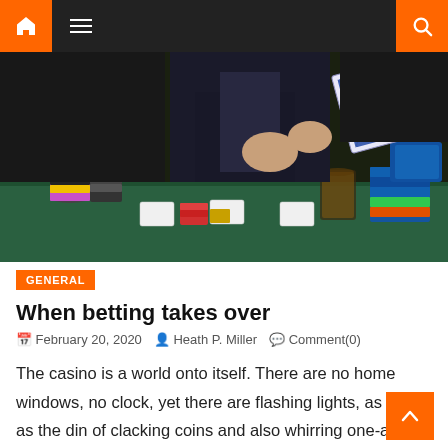Navigation bar with home icon, hamburger menu, and search icon
[Figure (photo): Casino scene: a dealer in a dark suit flipping playing cards over a green felt table with poker chips in various colors, a glass of whiskey, and a card shoe in the background]
GENERAL
When betting takes over
February 20, 2020   Heath P. Miller   Comment(0)
The casino is a world onto itself. There are no home windows, no clock, yet there are flashing lights, as well as the din of clacking coins and also whirring one-armed ban... Past the slots, figures are mesmerized at the crap table. Rate